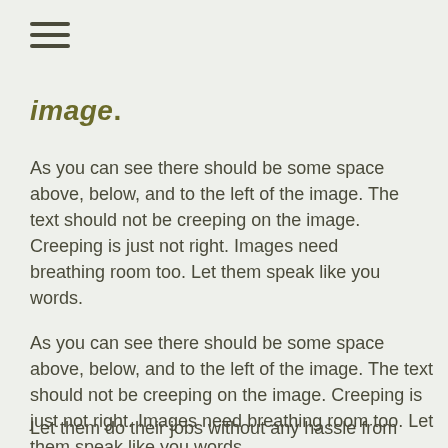[Figure (other): Hamburger menu icon (three horizontal lines)]
image.
As you can see there should be some space above, below, and to the left of the image. The text should not be creeping on the image. Creeping is just not right. Images need breathing room too. Let them speak like you words.
As you can see there should be some space above, below, and to the left of the image. The text should not be creeping on the image. Creeping is just not right. Images need breathing room too. Let them speak like you words.
Let them do their jobs without any hassle from